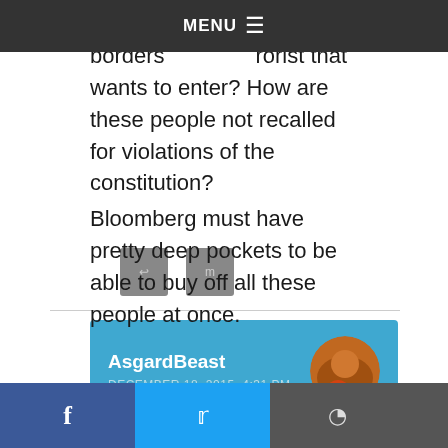MENU
but open our borders to any terrorist that wants to enter? How are these people not recalled for violations of the constitution?
Bloomberg must have pretty deep pockets to be able to buy off all these people at once.
AsgardBeast
DECEMBER 18, 2015, 4:31 PM
I think I just threw up in my mouth a little.